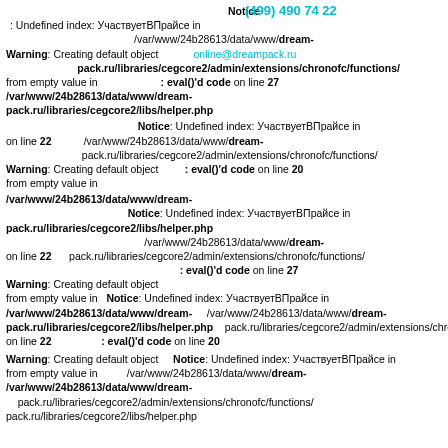Notice: Undefined index: УчаствуетВПрайсе in /var/www/24b28613/data/www/dream-pack.ru/libraries/cegcore2/admin/extensions/chronofc/functions/ (499) 490 74 22 online@dreampack.ru
Warning: Creating default object from empty value in /var/www/24b28613/data/www/dream-pack.ru/libraries/cegcore2/libs/helper.php : eval()'d code on line 27
Notice: Undefined index: УчаствуетВПрайсе in /var/www/24b28613/data/www/dream-pack.ru/libraries/cegcore2/admin/extensions/chronofc/functions/ : eval()'d code on line 22
Warning: Creating default object from empty value in /var/www/24b28613/data/www/dream-pack.ru/libraries/cegcore2/libs/helper.php on line 20
Notice: Undefined index: УчаствуетВПрайсе in /var/www/24b28613/data/www/dream-pack.ru/libraries/cegcore2/admin/extensions/chronofc/functions/ : eval()'d code on line 27
Warning: Creating default object from empty value in /var/www/24b28613/data/www/dream-pack.ru/libraries/cegcore2/libs/helper.php on line 22
Notice: Undefined index: УчаствуетВПрайсе in /var/www/24b28613/data/www/dream-pack.ru/libraries/cegcore2/admin/extensions/chronofc/functions/ /var/www/24b28613/data/www/dream-pack.ru/libraries/cegcore2/admin/extensions/chronofc/functions/ : eval()'d code on line 20
Warning: Creating default object from empty value in /var/www/24b28613/data/www/dream-pack.ru/libraries/cegcore2/libs/helper.php
Notice: Undefined index: УчаствуетВПрайсе in /var/www/24b28613/data/www/dream-pack.ru/libraries/cegcore2/admin/extensions/chronofc/functions/